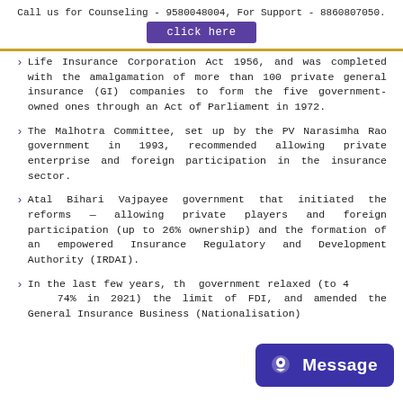Call us for Counseling - 9580048004, For Support - 8860807050.
click here
Life Insurance Corporation Act 1956, and was completed with the amalgamation of more than 100 private general insurance (GI) companies to form the five government-owned ones through an Act of Parliament in 1972.
The Malhotra Committee, set up by the PV Narasimha Rao government in 1993, recommended allowing private enterprise and foreign participation in the insurance sector.
Atal Bihari Vajpayee government that initiated the reforms — allowing private players and foreign participation (up to 26% ownership) and the formation of an empowered Insurance Regulatory and Development Authority (IRDAI).
In the last few years, the government relaxed (to 49% and now 74% in 2021) the limit of FDI, and amended the General Insurance Business (Nationalisation)